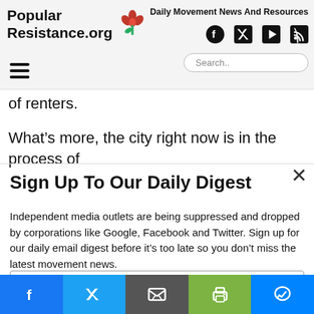Popular Resistance.org — Daily Movement News And Resources
of renters.
What's more, the city right now is in the process of
Sign Up To Our Daily Digest
Independent media outlets are being suppressed and dropped by corporations like Google, Facebook and Twitter. Sign up for our daily email digest before it's too late so you don't miss the latest movement news.